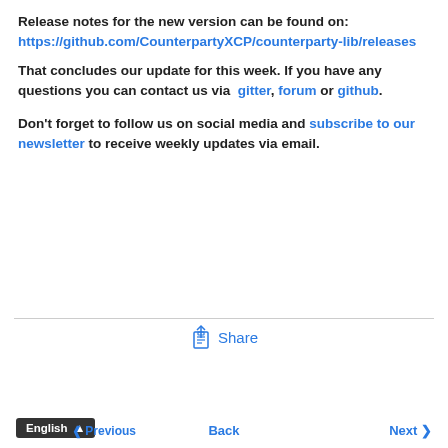Release notes for the new version can be found on: https://github.com/CounterpartyXCP/counterparty-lib/releases
That concludes our update for this week. If you have any questions you can contact us via gitter, forum or github.
Don't forget to follow us on social media and subscribe to our newsletter to receive weekly updates via email.
Share
English  Previous  Back  Next >